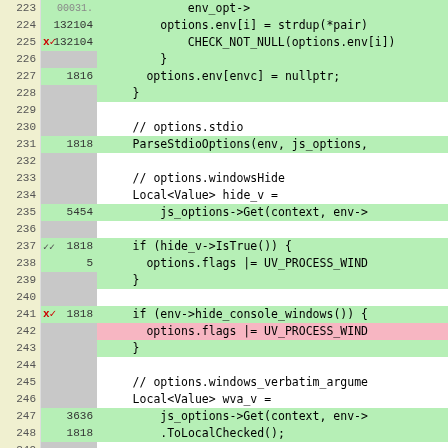[Figure (screenshot): Code coverage viewer showing C++ source lines 223-249 with line numbers, hit counts, and color-coded coverage. Green rows are covered, pink is uncovered. Red X/checkmarks indicate branch coverage status.]